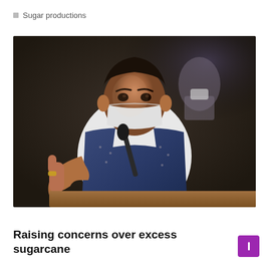Sugar productions
[Figure (photo): A man in a blue vest and white shirt wearing a face mask, gesturing with a thumbs-up at a podium with a microphone. Another masked person is visible in the background.]
Raising concerns over excess sugarcane